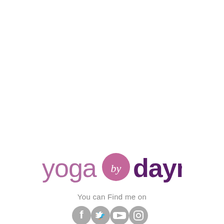[Figure (logo): Yoga by Dayna logo: 'yoga' in light purple lowercase, a pink circle with cursive 'by' in white, 'dayna' in bold dark purple lowercase]
You can Find me on
[Figure (illustration): Four social media icons: Facebook, Twitter, YouTube, Instagram — displayed as grey circles with white icons]